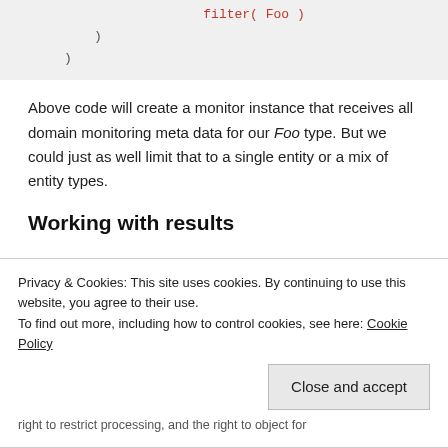[Figure (screenshot): Code block showing closing parentheses indented, partial view of code snippet]
Above code will create a monitor instance that receives all domain monitoring meta data for our Foo type. But we could just as well limit that to a single entity or a mix of entity types.
Working with results
Privacy & Cookies: This site uses cookies. By continuing to use this website, you agree to their use.
To find out more, including how to control cookies, see here: Cookie Policy
Close and accept